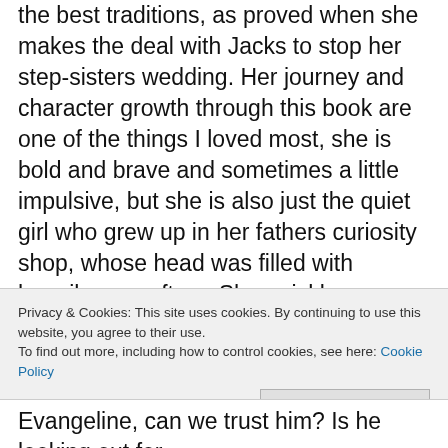the best traditions, as proved when she makes the deal with Jacks to stop her step-sisters wedding. Her journey and character growth through this book are one of the things I loved most, she is bold and brave and sometimes a little impulsive, but she is also just the quiet girl who grew up in her fathers curiosity shop, whose head was filled with happily ever afters. She quickly comes to realise that they don't always exists, but there is a small part of her that hopes she is destined for one in the end.
Jacks possibly became one of my all time favourite characters when reading this. He is wondrously morally grey, and extremely untrustworthy, but Evangeline, can we trust him? Is he looking out for
Privacy & Cookies: This site uses cookies. By continuing to use this website, you agree to their use.
To find out more, including how to control cookies, see here: Cookie Policy
Close and accept